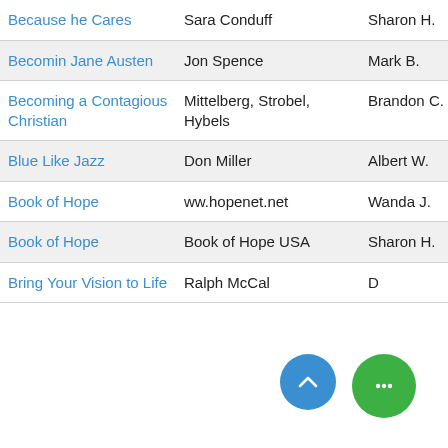| Because he Cares | Sara Conduff | Sharon H. |
| Becomin Jane Austen | Jon Spence | Mark B. |
| Becoming a Contagious Christian | Mittelberg, Strobel, Hybels | Brandon C. |
| Blue Like Jazz | Don Miller | Albert W. |
| Book of Hope | ww.hopenet.net | Wanda J. |
| Book of Hope | Book of Hope USA | Sharon H. |
| Bring Your Vision to Life | Ralph McCal | D |